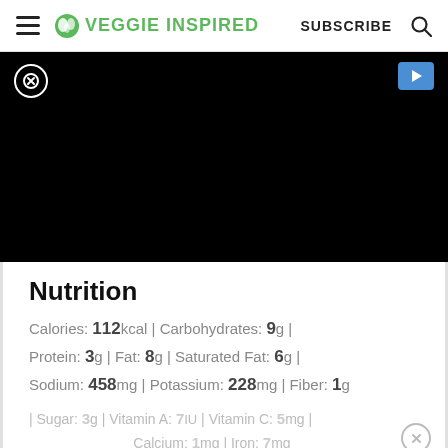VEGGIE INSPIRED | SUBSCRIBE
[Figure (other): Black video/advertisement bar with close (X) button and blue play button]
Nutrition
Calories: 112kcal | Carbohydrates: 9g | Protein: 3g | Fat: 8g | Saturated Fat: 6g | Sodium: 458mg | Potassium: 228mg | Fiber: 1g | Sugar: 3g | Vitamin A: 7IU | Vitamin C: 5mg | Calcium: 1mg | Iron: 7mg